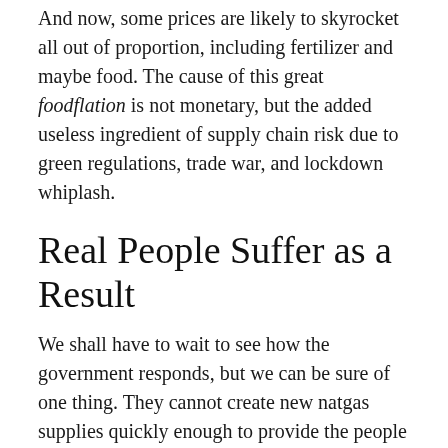And now, some prices are likely to skyrocket all out of proportion, including fertilizer and maybe food. The cause of this great foodflation is not monetary, but the added useless ingredient of supply chain risk due to green regulations, trade war, and lockdown whiplash.
Real People Suffer as a Result
We shall have to wait to see how the government responds, but we can be sure of one thing. They cannot create new natgas supplies quickly enough to provide the people with heat this winter and feed them next summer. We assume that, even if they deregulate fracking tomorrow, this move would not bring new natgas to market in under a year. They might subsidize fertilizer manufacturers, but this would just force a different industry to do without natgas.
Prices of everything—from electricity, to goods manufactured in electricity-intensive processes, to food, to